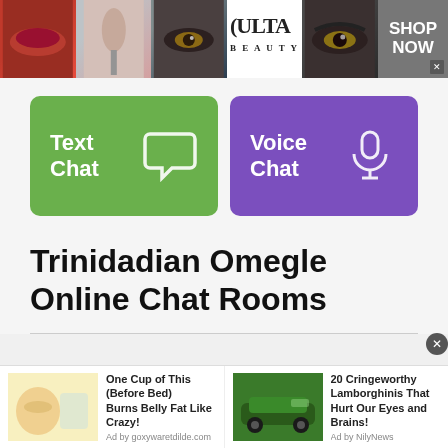[Figure (photo): Ulta Beauty banner advertisement showing makeup images (lips, brush, eye, Ulta logo, eye close-up) and SHOP NOW call to action]
[Figure (infographic): Text Chat button (green) with speech bubble icon and Voice Chat button (purple) with microphone icon]
Trinidadian Omegle Online Chat Rooms
[Figure (photo): Bottom advertisement bar: 'One Cup of This (Before Bed) Burns Belly Fat Like Crazy!' by goxywaretdilde.com with a woman drinking image, and '20 Cringeworthy Lamborghinis That Hurt Our Eyes and Brains!' by NilyNews with a green Lamborghini image]